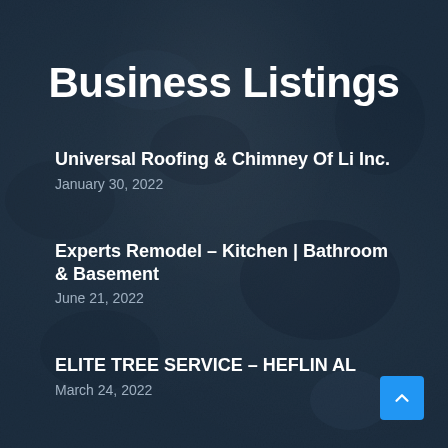Business Listings
Universal Roofing & Chimney Of Li Inc.
January 30, 2022
Experts Remodel – Kitchen | Bathroom & Basement
June 21, 2022
ELITE TREE SERVICE – HEFLIN AL
March 24, 2022